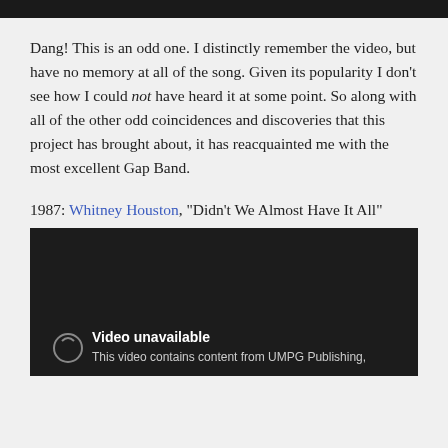Dang! This is an odd one. I distinctly remember the video, but have no memory at all of the song. Given its popularity I don’t see how I could not have heard it at some point. So along with all of the other odd coincidences and discoveries that this project has brought about, it has reacquainted me with the most excellent Gap Band.
1987: Whitney Houston, “Didn’t We Almost Have It All”
[Figure (screenshot): Embedded YouTube video player showing 'Video unavailable' message. Text reads: 'Video unavailable' and 'This video contains content from UMPG Publishing,']